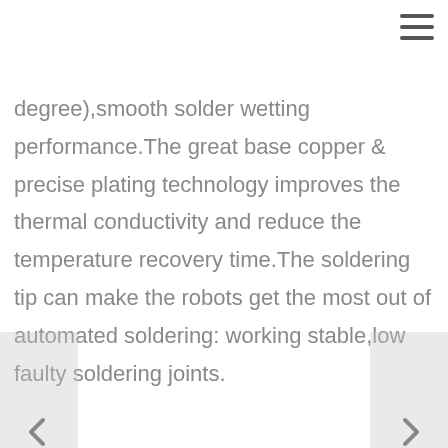degree),smooth solder wetting performance.The great base copper & precise plating technology improves the thermal conductivity and reduce the temperature recovery time.The soldering tip can make the robots get the most out of automated soldering: working stable,low faulty soldering joints.
[Figure (other): Navigation arrows (left and right) and a thumbnail image bar with broken image icon at the bottom of the content area]